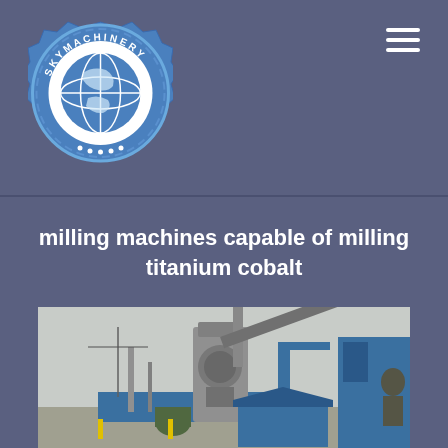[Figure (logo): SKY Machinery circular badge logo in blue and white, with globe illustration and text 'SKY MACHINERY' around the border]
milling machines capable of milling titanium cobalt
[Figure (photo): Industrial milling machinery at an outdoor facility, featuring a large vertical mill with conveyor belt and blue metal structures]